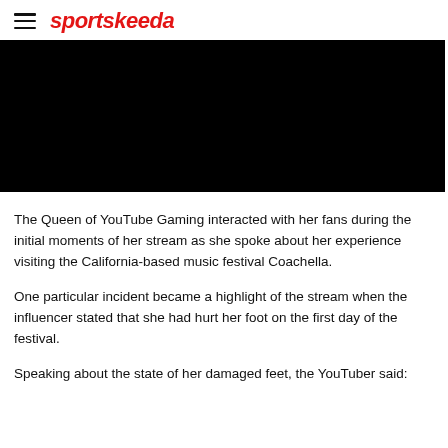sportskeeda
[Figure (other): Black video player embed area]
The Queen of YouTube Gaming interacted with her fans during the initial moments of her stream as she spoke about her experience visiting the California-based music festival Coachella.
One particular incident became a highlight of the stream when the influencer stated that she had hurt her foot on the first day of the festival.
Speaking about the state of her damaged feet, the YouTuber said: